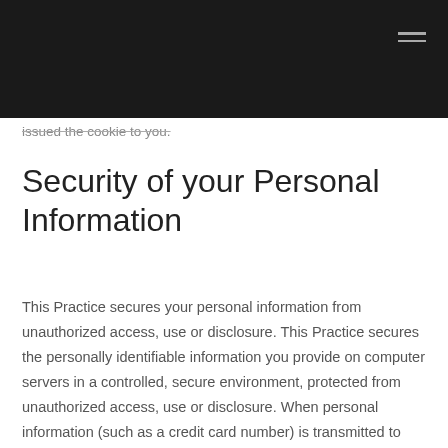issued the cookie to you.
Security of your Personal Information
This Practice secures your personal information from unauthorized access, use or disclosure. This Practice secures the personally identifiable information you provide on computer servers in a controlled, secure environment, protected from unauthorized access, use or disclosure. When personal information (such as a credit card number) is transmitted to other Web sites, it is protected through the use of encryption, such as the Secure Socket Layer (SSL)